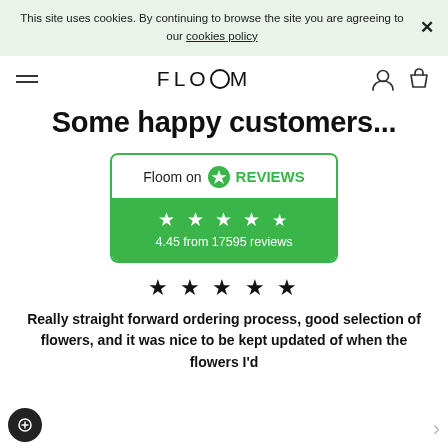This site uses cookies. By continuing to browse the site you are agreeing to our cookies policy ✕
[Figure (logo): Floom logo with hamburger menu, user icon, and basket icon in navigation bar]
Some happy customers...
[Figure (infographic): Floom on Reviews.io widget showing 4.45 from 17595 reviews with 4.5 green stars]
[Figure (infographic): 5 black star rating]
Really straight forward ordering process, good selection of flowers, and it was nice to be kept updated of when the flowers I'd